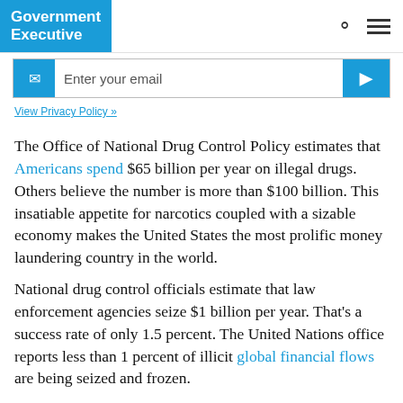Government Executive
[Figure (screenshot): Email subscription bar with envelope icon, 'Enter your email' input field, and blue submit arrow button]
View Privacy Policy »
The Office of National Drug Control Policy estimates that Americans spend $65 billion per year on illegal drugs. Others believe the number is more than $100 billion. This insatiable appetite for narcotics coupled with a sizable economy makes the United States the most prolific money laundering country in the world.
National drug control officials estimate that law enforcement agencies seize $1 billion per year. That's a success rate of only 1.5 percent. The United Nations office reports less than 1 percent of illicit global financial flows are being seized and frozen.